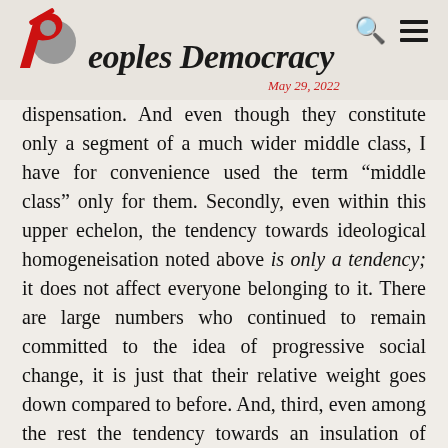Peoples Democracy — May 29, 2022
dispensation. And even though they constitute only a segment of a much wider middle class, I have for convenience used the term “middle class” only for them. Secondly, even within this upper echelon, the tendency towards ideological homogeneisation noted above is only a tendency; it does not affect everyone belonging to it. There are large numbers who continued to remain committed to the idea of progressive social change, it is just that their relative weight goes down compared to before. And, third, even among the rest the tendency towards an insulation of ideological homogeneity is